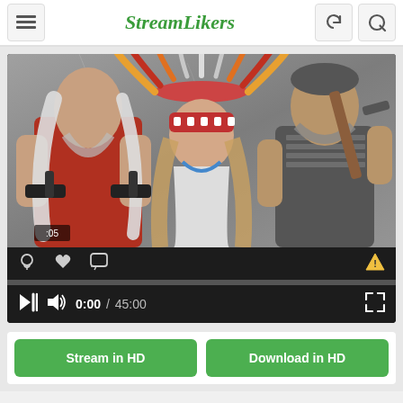StreamLikers
[Figure (screenshot): Video player showing three people — a long-haired man with guns, a woman with a Native American headdress, and a man with a rifle — with playback controls showing 0:00 / 45:00]
Stream in HD | Download in HD